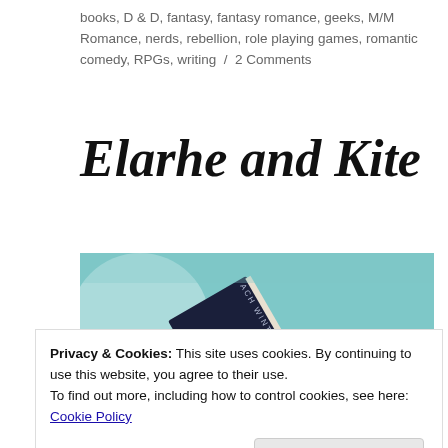books, D & D, fantasy, fantasy romance, geeks, M/M Romance, nerds, rebellion, role playing games, romantic comedy, RPGs, writing / 2 Comments
Elarhe and Kite
[Figure (photo): A hand holding an open book against a teal/light blue background. The book spine text reads 'ACH WINTERGREEN'. Part of another person or figure is visible at the bottom of the image.]
Privacy & Cookies: This site uses cookies. By continuing to use this website, you agree to their use.
To find out more, including how to control cookies, see here: Cookie Policy
Close and accept
Kite, from my new erotic romance, Lover,